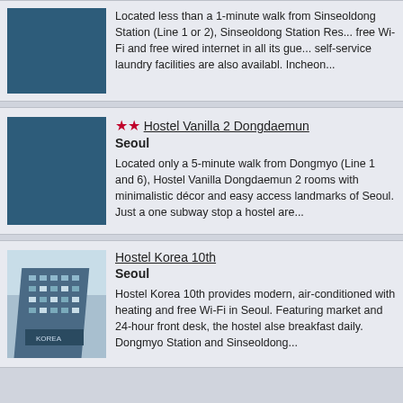Located less than a 1-minute walk from Sinseoldong Station (Line 1 or 2), Sinseoldong Station Res... free Wi-Fi and free wired internet in all its gue... self-service laundry facilities are also available. Incheon...
Hostel Vanilla 2 Dongdaemun
Seoul
Located only a 5-minute walk from Dongmyo (Line 1 and 6), Hostel Vanilla Dongdaemun 2 rooms with minimalistic décor and easy access landmarks of Seoul. Just a one subway stop a hostel are...
Hostel Korea 10th
Seoul
Hostel Korea 10th provides modern, air-conditioned with heating and free Wi-Fi in Seoul. Featuring market and 24-hour front desk, the hostel also breakfast daily. Dongmyo Station and Sinseoldong...